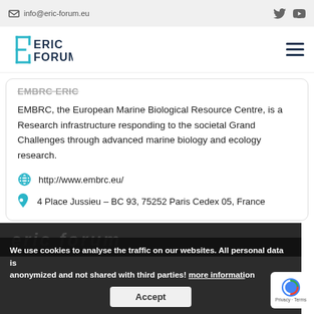info@eric-forum.eu
[Figure (logo): ERIC FORUM logo with teal geometric E icon and dark blue text]
EMBRC ERIC
EMBRC, the European Marine Biological Resource Centre, is a Research infrastructure responding to the societal Grand Challenges through advanced marine biology and ecology research.
http://www.embrc.eu/
4 Place Jussieu – BC 93, 75252 Paris Cedex 05, France
We use cookies to analyse the traffic on our websites. All personal data is anonymized and not shared with third parties! more information
Accept